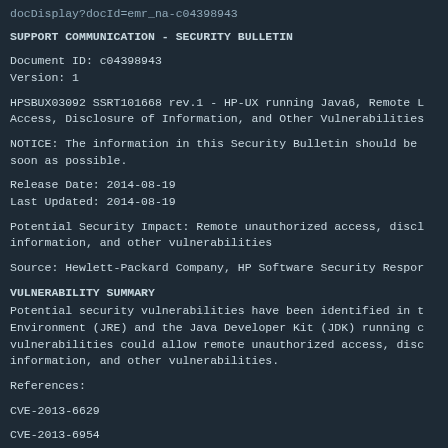docDisplay?docId=emr_na-c04398943
SUPPORT COMMUNICATION - SECURITY BULLETIN
Document ID: c04398943
Version: 1
HPSBUX03092 SSRT101668 rev.1 - HP-UX running Java6, Remote L Access, Disclosure of Information, and Other Vulnerabilities
NOTICE: The information in this Security Bulletin should be soon as possible.
Release Date: 2014-08-19
Last Updated: 2014-08-19
Potential Security Impact: Remote unauthorized access, discl information, and other vulnerabilities
Source: Hewlett-Packard Company, HP Software Security Respor
VULNERABILITY SUMMARY
Potential security vulnerabilities have been identified in t Environment (JRE) and the Java Developer Kit (JDK) running c vulnerabilities could allow remote unauthorized access, disc information, and other vulnerabilities.
References:
CVE-2013-6629
CVE-2013-6954